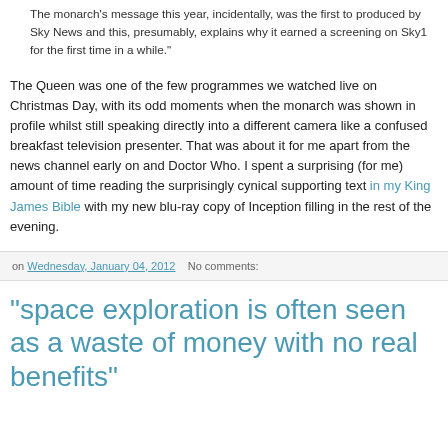The monarch’s message this year, incidentally, was the first to produced by Sky News and this, presumably, explains why it earned a screening on Sky1 for the first time in a while."
The Queen was one of the few programmes we watched live on Christmas Day, with its odd moments when the monarch was shown in profile whilst still speaking directly into a different camera like a confused breakfast television presenter. That was about it for me apart from the news channel early on and Doctor Who. I spent a surprising (for me) amount of time reading the surprisingly cynical supporting text in my King James Bible with my new blu-ray copy of Inception filling in the rest of the evening.
on Wednesday, January 04, 2012   No comments:
"space exploration is often seen as a waste of money with no real benefits"